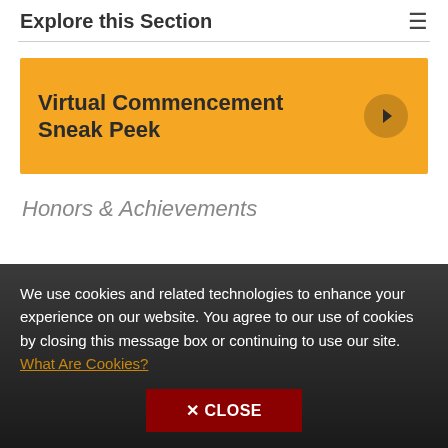Explore this Section
[Figure (infographic): Orange banner with text 'Virtual Commencement Sneak Peek' and a right-arrow circle icon]
Honors & Achievements
We use cookies and related technologies to enhance your experience on our website. You agree to our use of cookies by closing this message box or continuing to use our site. What Are Cookies?
✕ CLOSE